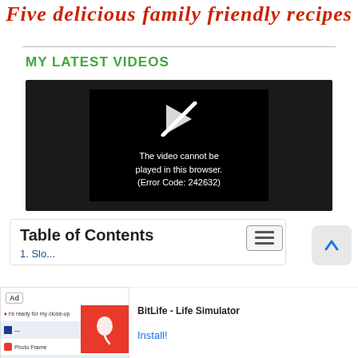Five delicious family friendly recipes
MY LATEST VIDEOS
[Figure (screenshot): A video player showing a black screen with a play icon and the error message: 'The video cannot be played in this browser. (Error Code: 242632)']
Table of Contents
1. Slo...
[Figure (screenshot): Advertisement bar at the bottom: BitLife - Life Simulator app ad with Install! button]